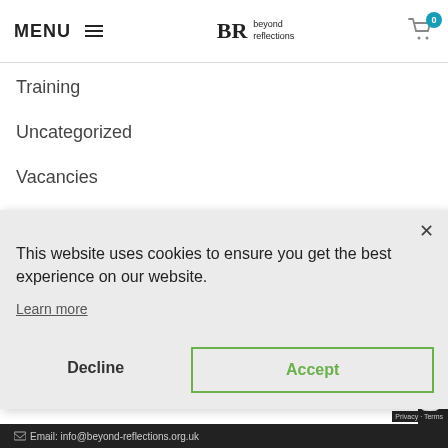MENU  BR beyond reflections  0
Training
Uncategorized
Vacancies
Volunteers
This website uses cookies to ensure you get the best experience on our website.

Learn more

Decline    Accept
Email: info@beyond-reflections.org.uk